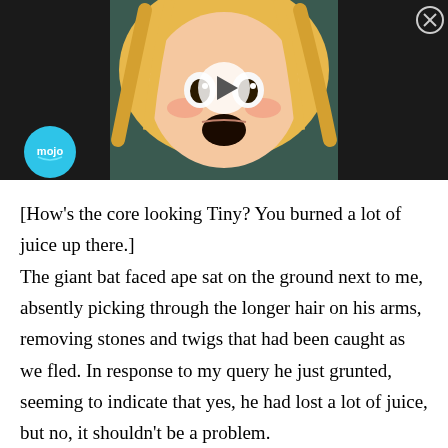[Figure (screenshot): Video thumbnail showing an anime girl character with blonde hair and an open mouth expression, with a play button overlay, a 'mojo' logo in the bottom left, and a close button in the top right corner. Dark background.]
[How's the core looking Tiny? You burned a lot of juice up there.]
The giant bat faced ape sat on the ground next to me, absently picking through the longer hair on his arms, removing stones and twigs that had been caught as we fled. In response to my query he just grunted, seeming to indicate that yes, he had lost a lot of juice, but no, it shouldn't be a problem.